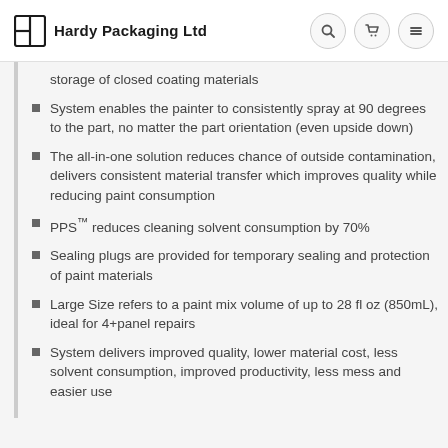Hardy Packaging Ltd
storage of closed coating materials
System enables the painter to consistently spray at 90 degrees to the part, no matter the part orientation (even upside down)
The all-in-one solution reduces chance of outside contamination, delivers consistent material transfer which improves quality while reducing paint consumption
PPS™ reduces cleaning solvent consumption by 70%
Sealing plugs are provided for temporary sealing and protection of paint materials
Large Size refers to a paint mix volume of up to 28 fl oz (850mL), ideal for 4+panel repairs
System delivers improved quality, lower material cost, less solvent consumption, improved productivity, less mess and easier use